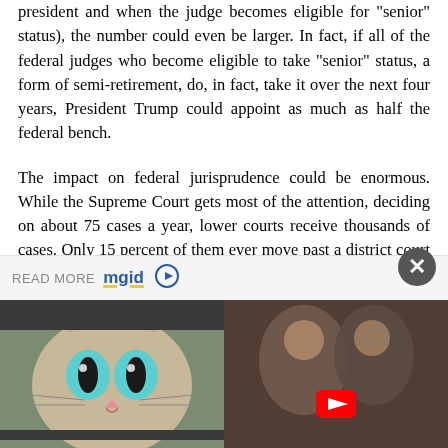president and when the judge becomes eligible for "senior" status), the number could even be larger. In fact, if all of the federal judges who become eligible to take "senior" status, a form of semi-retirement, do, in fact, take it over the next four years, President Trump could appoint as much as half the federal bench.
The impact on federal jurisprudence could be enormous. While the Supreme Court gets most of the attention, deciding on about 75 cases a year, lower courts receive thousands of cases. Only 15 percent of them ever move past a district court to a circuit court. And only a tiny percentage of them ever make their way from there to the Supreme Court. In other words, issues such as abortion and...
[Figure (other): Advertisement banner with READ MORE mgid logo and play button, followed by two thumbnail images side by side: left shows a cat with large eyes, right shows a couple with a YouTube play button overlay.]